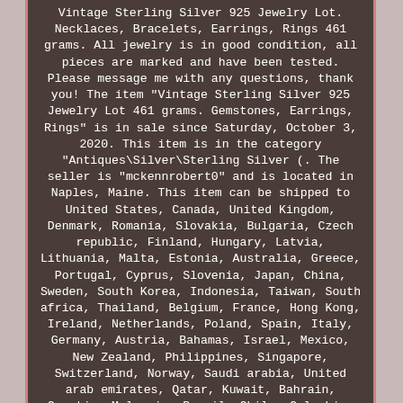Vintage Sterling Silver 925 Jewelry Lot. Necklaces, Bracelets, Earrings, Rings 461 grams. All jewelry is in good condition, all pieces are marked and have been tested. Please message me with any questions, thank you! The item "Vintage Sterling Silver 925 Jewelry Lot 461 grams. Gemstones, Earrings, Rings" is in sale since Saturday, October 3, 2020. This item is in the category "Antiques\Silver\Sterling Silver (. The seller is "mckennrobert0" and is located in Naples, Maine. This item can be shipped to United States, Canada, United Kingdom, Denmark, Romania, Slovakia, Bulgaria, Czech republic, Finland, Hungary, Latvia, Lithuania, Malta, Estonia, Australia, Greece, Portugal, Cyprus, Slovenia, Japan, China, Sweden, South Korea, Indonesia, Taiwan, South africa, Thailand, Belgium, France, Hong Kong, Ireland, Netherlands, Poland, Spain, Italy, Germany, Austria, Bahamas, Israel, Mexico, New Zealand, Philippines, Singapore, Switzerland, Norway, Saudi arabia, United arab emirates, Qatar, Kuwait, Bahrain, Croatia, Malaysia, Brazil, Chile, Colombia, Costa rica, Antigua and barbuda, Aruba, Belize, Dominica, Grenada, Saint kitts and nevis, Saint lucia, Montserrat, Turks and caicos islands, Barbados, Bangladesh, Bermuda, Brunei darussalam, Bolivia, Ecuador,